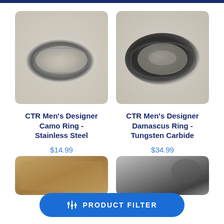[Figure (photo): CTR Men's Designer Camo Ring - Stainless Steel product photo, metallic ring on beige background]
CTR Men's Designer Camo Ring - Stainless Steel
$14.99
[Figure (photo): CTR Men's Designer Damascus Ring - Tungsten Carbide product photo, dark ring on beige background]
CTR Men's Designer Damascus Ring - Tungsten Carbide
$34.99
[Figure (photo): Partially visible product image bottom left, brown/tan]
[Figure (photo): Partially visible product image bottom right, grey/dark]
PRODUCT FILTER